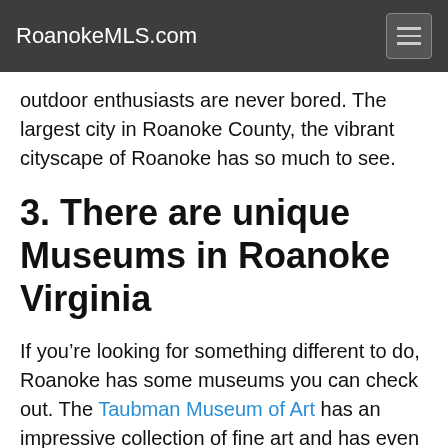RoanokeMLS.com
outdoor enthusiasts are never bored. The largest city in Roanoke County, the vibrant cityscape of Roanoke has so much to see.
3. There are unique Museums in Roanoke Virginia
If you’re looking for something different to do, Roanoke has some museums you can check out. The Taubman Museum of Art has an impressive collection of fine art and has even been known to host some one-of-a-kind exhibitions. Additionally, Roanoke has an